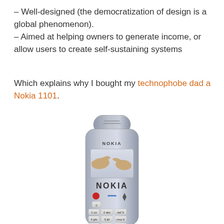– Well-designed (the democratization of design is a global phenomenon).
– Aimed at helping owners to generate income, or allow users to create self-sustaining systems
Which explains why I bought my technophobe dad a Nokia 1101.
[Figure (photo): A Nokia 1101 mobile phone with silver/grey body, NOKIA branding, numeric keypad, and a screen showing two hands reaching toward each other (Michelangelo-style).]